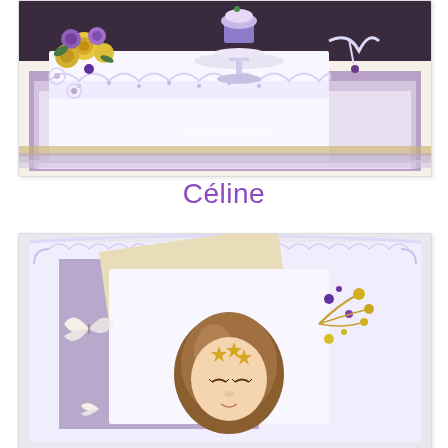[Figure (photo): Handmade craft card with purple and yellow floral decorations, lace details, a cupcake on a cake stand, and ribbon. Watermark reads 'Inkypinkydelights'.]
Céline
[Figure (photo): Handmade craft card featuring an illustrated girl with brown hair and star crown, surrounded by butterflies, flowers, and purple/gold embellishments on layered purple and cream patterned paper.]